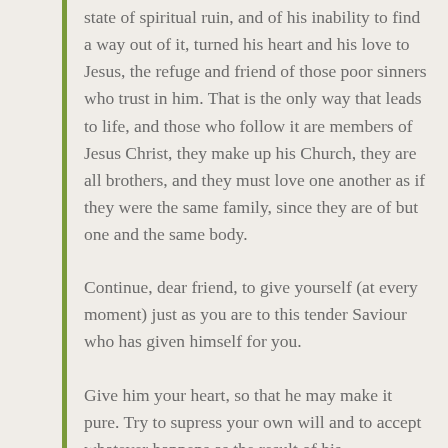state of spiritual ruin, and of his inability to find a way out of it, turned his heart and his love to Jesus, the refuge and friend of those poor sinners who trust in him. That is the only way that leads to life, and those who follow it are members of Jesus Christ, they make up his Church, they are all brothers, and they must love one another as if they were the same family, since they are of but one and the same body.
Continue, dear friend, to give yourself (at every moment) just as you are to this tender Saviour who has given himself for you.
Give him your heart, so that he may make it pure. Try to supress your own will and to accept whatever happens as the result of his dispensations. Always remember that